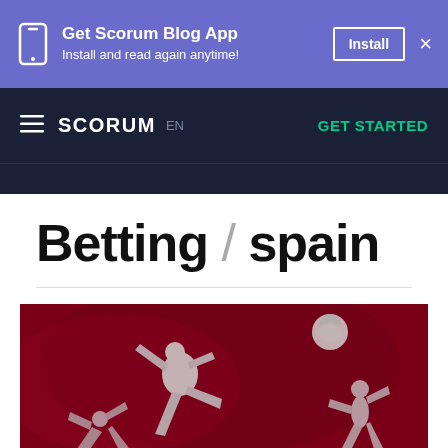Get Scorum Blog App — Install and read again anytime! [Install] ×
≡ SCORUM EN — GET STARTED
Betting / spain
[Figure (photo): Sports action photo with silhouettes of football/soccer players on a dark red background]